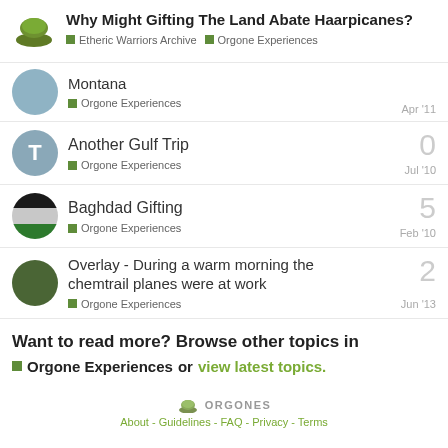Why Might Gifting The Land Abate Haarpicanes? | Etheric Warriors Archive > Orgone Experiences
Montana | Orgone Experiences | Apr '11
Another Gulf Trip | Orgone Experiences | Jul '10 | replies: 0
Baghdad Gifting | Orgone Experiences | Feb '10 | replies: 5
Overlay - During a warm morning the chemtrail planes were at work | Orgone Experiences | Jun '13 | replies: 2
Want to read more? Browse other topics in Orgone Experiences or view latest topics.
ORGONES | About - Guidelines - FAQ - Privacy - Terms